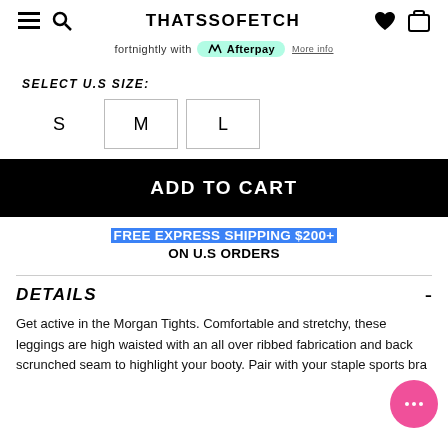THATSSOFETCH
fortnightly with Afterpay More info
SELECT U.S SIZE:
S  M  L
ADD TO CART
FREE EXPRESS SHIPPING $200+ ON U.S ORDERS
DETAILS
Get active in the Morgan Tights. Comfortable and stretchy, these leggings are high waisted with an all over ribbed fabrication and back scrunched seam to highlight your booty. Pair with your staple sports bra